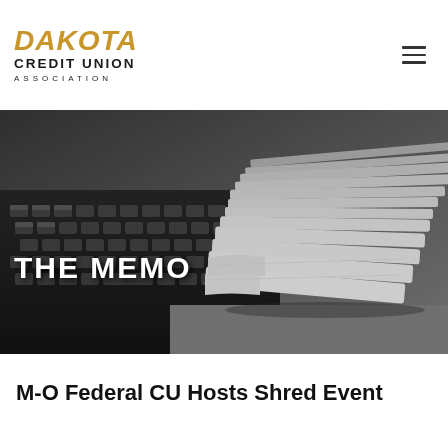DAKOTA CREDIT UNION ASSOCIATION
[Figure (photo): Black and white photo of a stack of newspapers/folded papers on a laptop keyboard, with text overlay 'THE MEMO']
M-O Federal CU Hosts Shred Event